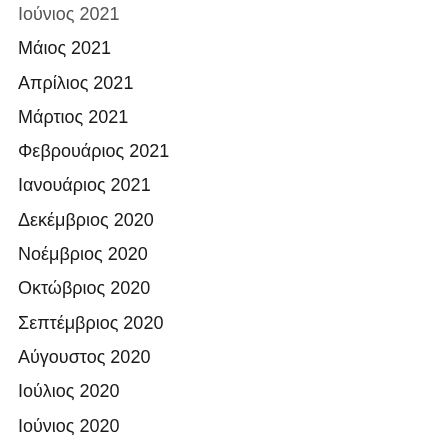Ιούνιος 2021
Μάιος 2021
Απρίλιος 2021
Μάρτιος 2021
Φεβρουάριος 2021
Ιανουάριος 2021
Δεκέμβριος 2020
Νοέμβριος 2020
Οκτώβριος 2020
Σεπτέμβριος 2020
Αύγουστος 2020
Ιούλιος 2020
Ιούνιος 2020
Μάιος 2020